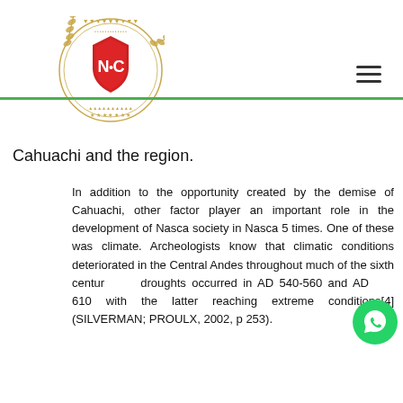[Figure (logo): Circular institutional logo with shield containing letters N and C, olive branches, stars, and decorative border in gold, red and white]
Cahuachi and the region.
In addition to the opportunity created by the demise of Cahuachi, other factor player an important role in the development of Nasca society in Nasca 5 times. One of these was climate. Archeologists know that climatic conditions deteriorated in the Central Andes throughout much of the sixth century: droughts occurred in AD 540-560 and AD 570-610 with the latter reaching extreme conditions[4] (SILVERMAN; PROULX, 2002, p 253).